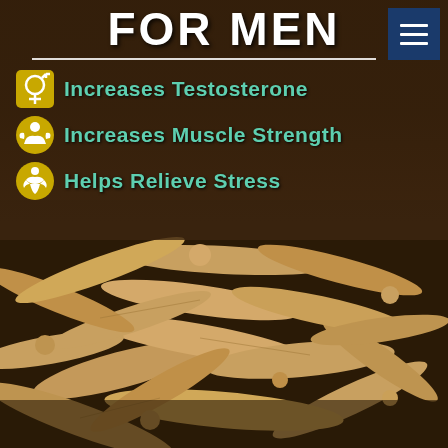FOR MEN
Increases Testosterone
Increases Muscle Strength
Helps Relieve Stress
[Figure (photo): Close-up photograph of ashwagandha roots (Withania somnifera) piled on a dark wooden surface, showing pale tan/beige colored dried roots of varying sizes]